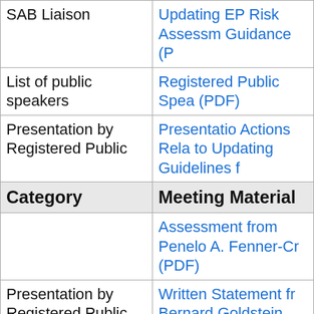| Category | Meeting Material |
| --- | --- |
| SAB Liaison | Updating EP Risk Assessm Guidance (P |
| List of public speakers | Registered Public Spea (PDF) |
| Presentation by Registered Public | Presentatio Actions Rela to Updating Guidelines f |
| Category | Meeting Material |
|  | Assessment from Penelo A. Fenner-Cr (PDF) |
| Presentation by Registered Public Speaker | Written Statement fr Bernard Goldstein (Revised Ju 2019). Environmer Protection Network. (P |
| Presentation | Written |